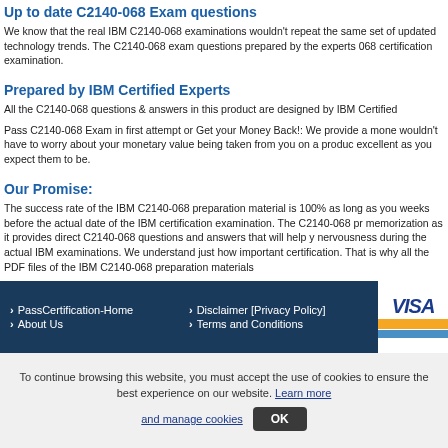Up to date C2140-068 Exam questions
We know that the real IBM C2140-068 examinations wouldn't repeat the same set of updated technology trends. The C2140-068 exam questions prepared by the experts 068 certification examination.
Prepared by IBM Certified Experts
All the C2140-068 questions & answers in this product are designed by IBM Certified
Pass C2140-068 Exam in first attempt or Get your Money Back!: We provide a mone wouldn't have to worry about your monetary value being taken from you on a produc excellent as you expect them to be.
Our Promise:
The success rate of the IBM C2140-068 preparation material is 100% as long as you weeks before the actual date of the IBM certification examination. The C2140-068 pr memorization as it provides direct C2140-068 questions and answers that will help y nervousness during the actual IBM examinations. We understand just how important certification. That is why all the PDF files of the IBM C2140-068 preparation materials
PassCertification-Home | Disclaimer [Privacy Policy] | About Us | Terms and Conditions
To continue browsing this website, you must accept the use of cookies to ensure the best experience on our website. Learn more and manage cookies OK